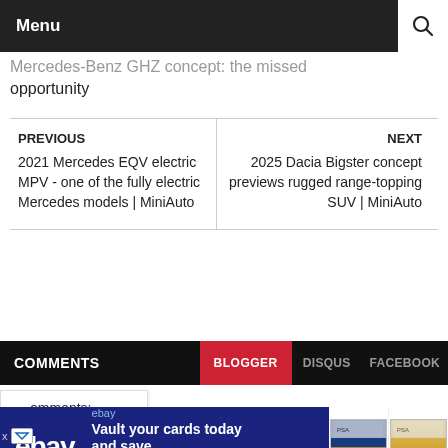Menu
Mercedes-Benz GHZ concept: the missed opportunity
PREVIOUS
2021 Mercedes EQV electric MPV - one of the fully electric Mercedes models | MiniAuto
NEXT
2025 Dacia Bigster concept previews rugged range-topping SUV | MiniAuto
COMMENTS  BLOGGER  DISQUS  FACEBOOK
comments:
[Figure (other): eBay advertisement banner: Vault your cards today and save. No sales tax on transactions within the vault in Delaware. Two graded sports cards shown with prices $10,330 and $101,050.]